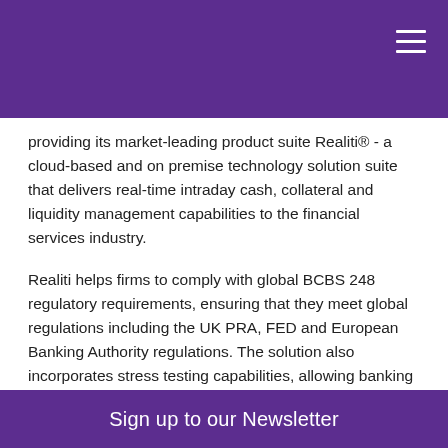providing its market-leading product suite Realiti® - a cloud-based and on premise technology solution suite that delivers real-time intraday cash, collateral and liquidity management capabilities to the financial services industry.
Realiti helps firms to comply with global BCBS 248 regulatory requirements, ensuring that they meet global regulations including the UK PRA, FED and European Banking Authority regulations. The solution also incorporates stress testing capabilities, allowing banking firms to apply a range of stress scenarios in order to understand, monitor and prepare to mitigate any intraday liquidity stresses and to help size liquidity buffers.
Sign up to our Newsletter